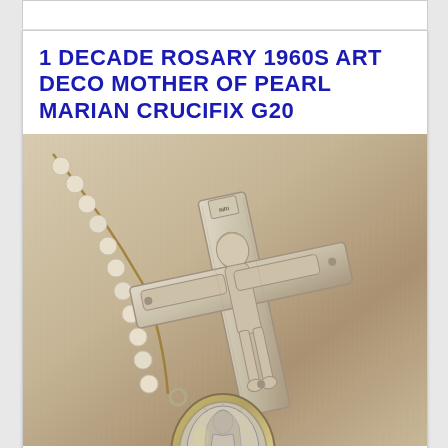1 DECADE ROSARY 1960S ART DECO MOTHER OF PEARL MARIAN CRUCIFIX G20
[Figure (photo): Close-up photo of a vintage rosary crucifix and Marian medal on a textured beige fabric background. The crucifix is silver-toned with a corpus of Christ, and below it hangs an oval medal depicting the Virgin Mary, set in a mother-of-pearl shell with a silver border. White rosary beads with tan/gold knotted cord are visible on the left side.]
$14.99
Buy It Now
$5.25 Shipping